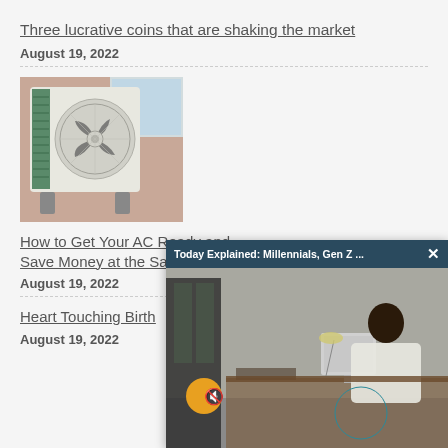Three lucrative coins that are shaking the market
August 19, 2022
[Figure (photo): Outdoor air conditioning unit mounted on a wall bracket]
How to Get Your AC Ready and Save Money at the Same Time
August 19, 2022
Heart Touching Birth
August 19, 2022
[Figure (screenshot): Video popup overlay with title 'Today Explained: Millennials, Gen Z ...' showing a woman working at a computer desk, with a mute button and close X button]